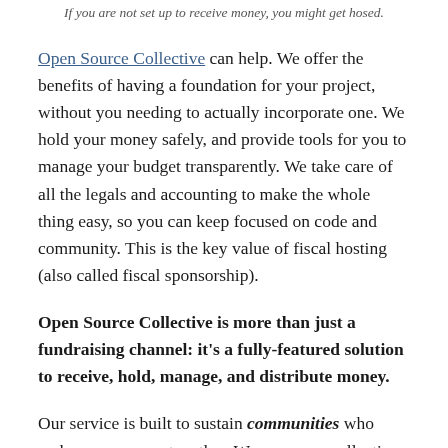If you are not set up to receive money, you might get hosed.
Open Source Collective can help. We offer the benefits of having a foundation for your project, without you needing to actually incorporate one. We hold your money safely, and provide tools for you to manage your budget transparently. We take care of all the legals and accounting to make the whole thing easy, so you can keep focused on code and community. This is the key value of fiscal hosting (also called fiscal sponsorship).
Open Source Collective is more than just a fundraising channel: it's a fully-featured solution to receive, hold, manage, and distribute money.
Our service is built to sustain communities who make open source together. We empower collective financial